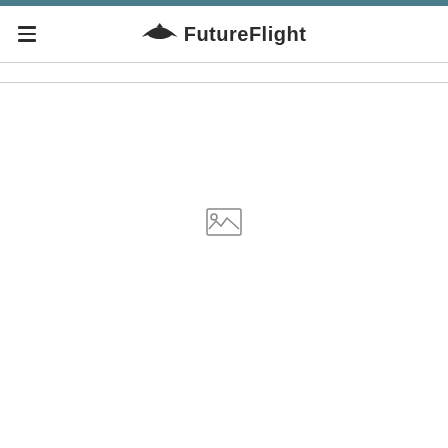FutureFlight
[Figure (other): Broken/missing image placeholder icon shown in the center of the page content area]